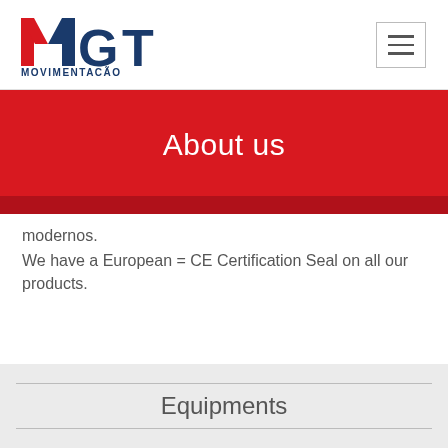[Figure (logo): MGT Movimentação logo — red M, dark blue G and T letters, with text MOVIMENTAÇÃO below]
About us
modernos.
We have a European = CE Certification Seal on all our products.
Equipments
MGT works hard and never stops!
There are more than 20 products of different characteristics,